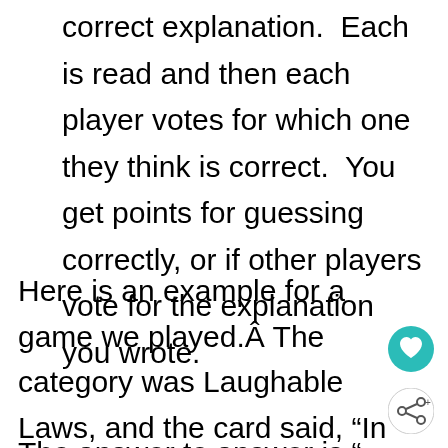correct explanation.  Each is read and then each player votes for which one they think is correct.  You get points for guessing correctly, or if other players vote for the explanation you wrote.
Here is an example for a game we played.Â The category was Laughable Laws, and the card said, “In Blythe, CA, the law used to state that you may not wear cowboy boots unless”
The answer to answer is “...